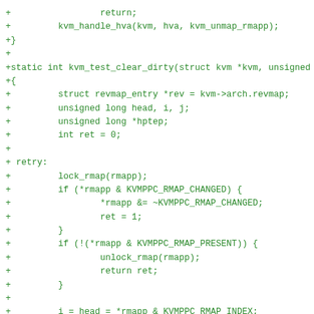+                 return;
+         kvm_handle_hva(kvm, hva, kvm_unmap_rmapp);
+}
+
+static int kvm_test_clear_dirty(struct kvm *kvm, unsigned lo
+{
+         struct revmap_entry *rev = kvm->arch.revmap;
+         unsigned long head, i, j;
+         unsigned long *hptep;
+         int ret = 0;
+
+ retry:
+         lock_rmap(rmapp);
+         if (*rmapp & KVMPPC_RMAP_CHANGED) {
+                 *rmapp &= ~KVMPPC_RMAP_CHANGED;
+                 ret = 1;
+         }
+         if (!(*rmapp & KVMPPC_RMAP_PRESENT)) {
+                 unlock_rmap(rmapp);
+                 return ret;
+         }
+
+         i = head = *rmapp & KVMPPC_RMAP_INDEX;
+         do {
+                 hptep = (unsigned long *) (kvm->arch.hpt_virt